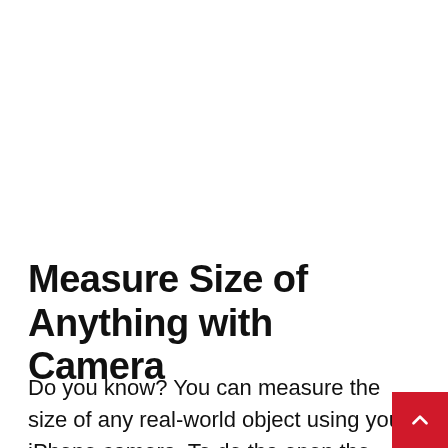Measure Size of Anything with Camera
Do you know? You can measure the size of any real-world object using your iPhone camera. To do tha open the Measure app on your device and point t